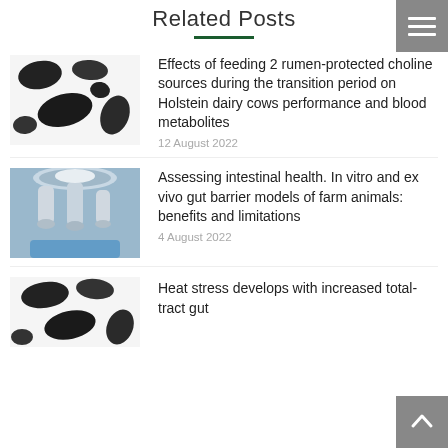Related Posts
[Figure (photo): Close-up of black and white cow hide/fur texture]
Effects of feeding 2 rumen-protected choline sources during the transition period on Holstein dairy cows performance and blood metabolites
12 August 2022
[Figure (photo): Close-up of microscope objective lenses with blue-gloved hand, laboratory setting]
Assessing intestinal health. In vitro and ex vivo gut barrier models of farm animals: benefits and limitations
4 August 2022
[Figure (photo): Close-up of black and white cow hide texture (partially visible)]
Heat stress develops with increased total-tract gut